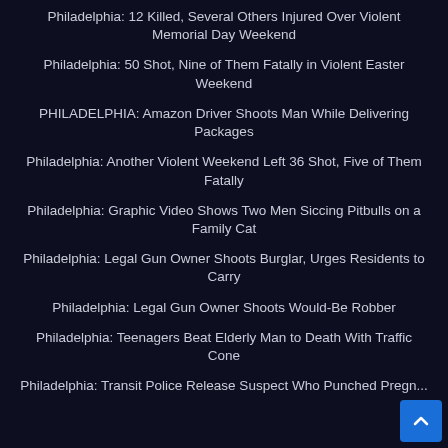Philadelphia: 12 Killed, Several Others Injured Over Violent Memorial Day Weekend
Philadelphia: 50 Shot, Nine of Them Fatally in Violent Easter Weekend
PHILADELPHIA: Amazon Driver Shoots Man While Delivering Packages
Philadelphia: Another Violent Weekend Left 36 Shot, Five of Them Fatally
Philadelphia: Graphic Video Shows Two Men Siccing Pitbulls on a Family Cat
Philadelphia: Legal Gun Owner Shoots Burglar, Urges Residents to Carry
Philadelphia: Legal Gun Owner Shoots Would-Be Robber
Philadelphia: Teenagers Beat Elderly Man to Death With Traffic Cone
Philadelphia: Transit Police Release Suspect Who Punched Pregnant Woman